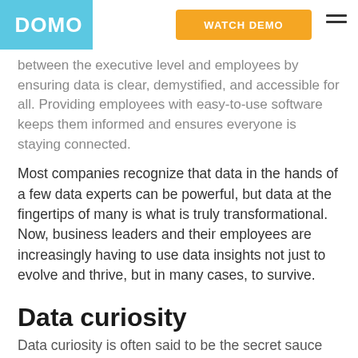DOMO | WATCH DEMO
between the executive level and employees by ensuring data is clear, demystified, and accessible for all. Providing employees with easy-to-use software keeps them informed and ensures everyone is staying connected.
Most companies recognize that data in the hands of a few data experts can be powerful, but data at the fingertips of many is what is truly transformational. Now, business leaders and their employees are increasingly having to use data insights not just to evolve and thrive, but in many cases, to survive.
Data curiosity
Data curiosity is often said to be the secret sauce for a